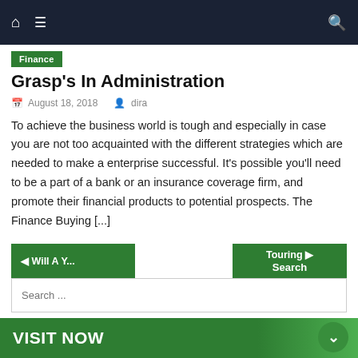Navigation bar with home icon, menu icon, and search icon
Finance
Grasp's In Administration
August 18, 2018   dira
To achieve the business world is tough and especially in case you are not too acquainted with the different strategies which are needed to make a enterprise successful. It's possible you'll need to be a part of a bank or an insurance coverage firm, and promote their financial products to potential prospects. The Finance Buying [...]
◄ Will A Y...   Touring ►   Search   Search ...   VISIT NOW